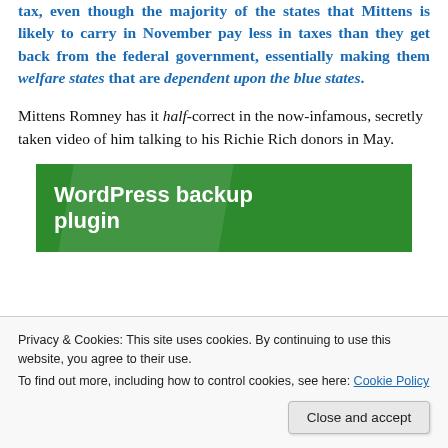tax, even though the majority of the states that Mittens is likely to carry in November pay less in taxes than they get back from the federal government, essentially making them welfare states that are dependent upon the blue states.
Mittens Romney has it half-correct in the now-infamous, secretly taken video of him talking to his Richie Rich donors in May.
[Figure (screenshot): WordPress backup plugin green banner advertisement]
Privacy & Cookies: This site uses cookies. By continuing to use this website, you agree to their use. To find out more, including how to control cookies, see here: Cookie Policy